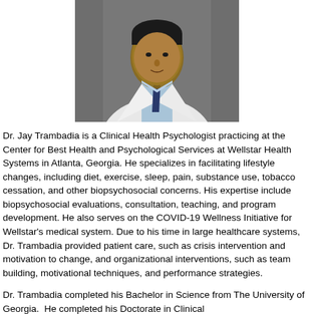[Figure (photo): Professional headshot of Dr. Jay Trambadia wearing a white lab coat, light blue shirt, and dark navy tie, photographed against a gray background.]
Dr. Jay Trambadia is a Clinical Health Psychologist practicing at the Center for Best Health and Psychological Services at Wellstar Health Systems in Atlanta, Georgia. He specializes in facilitating lifestyle changes, including diet, exercise, sleep, pain, substance use, tobacco cessation, and other biopsychosocial concerns. His expertise include biopsychosocial evaluations, consultation, teaching, and program development. He also serves on the COVID-19 Wellness Initiative for Wellstar's medical system. Due to his time in large healthcare systems, Dr. Trambadia provided patient care, such as crisis intervention and motivation to change, and organizational interventions, such as team building, motivational techniques, and performance strategies.
Dr. Trambadia completed his Bachelor in Science from The University of Georgia.  He completed his Doctorate in Clinical Psychology at Nova Southeastern University, APA accredited...